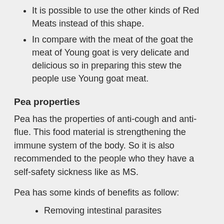It is possible to use the other kinds of Red Meats instead of this shape.
In compare with the meat of the goat the meat of Young goat is very delicate and delicious so in preparing this stew the people use Young goat meat.
Pea properties
Pea has the properties of anti-cough and anti-flue. This food material is strengthening the immune system of the body. So it is also recommended to the people who they have a self-safety sickness like as MS.
Pea has some kinds of benefits as follow:
Removing intestinal parasites
Relieve chest pain
Relieve shortness of breath
...